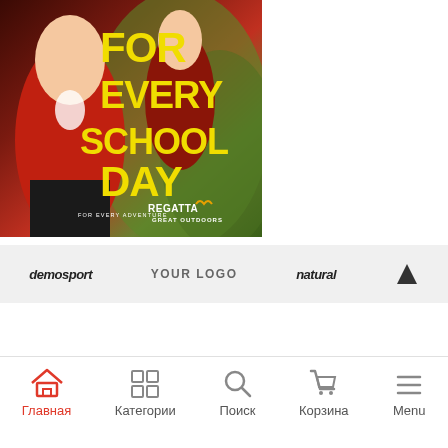[Figure (photo): Children running outdoors wearing Regatta school clothing. Bold yellow text overlay reads FOR EVERY SCHOOL DAY. Regatta Great Outdoors logo in bottom right. FOR EVERY ADVENTURE text at bottom left.]
[Figure (logo): Brand logos bar showing: demosport, YOUR LOGO, natural, and a black triangle/mountain logo]
Главная  Категории  Поиск  Корзина  Menu